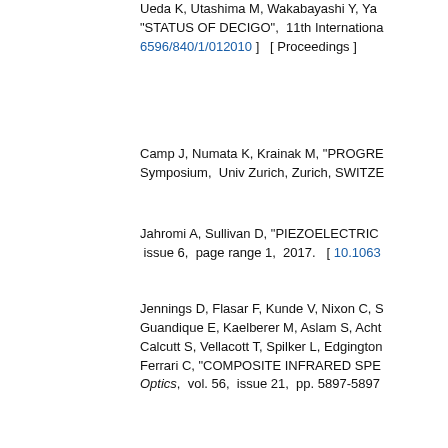Ueda K, Utashima M, Wakabayashi Y, Ya... "STATUS OF DECIGO", 11th Internationa... 6596/840/1/012010 ]  [ Proceedings ]
Camp J, Numata K, Krainak M, "PROGRE... Symposium,  Univ Zurich, Zurich, SWITZE...
Jahromi A, Sullivan D, "PIEZOELECTRIC... issue 6,  page range 1,  2017.  [ 10.1063...
Jennings D, Flasar F, Kunde V, Nixon C, S... Guandique E, Kaelberer M, Aslam S, Acht... Calcutt S, Vellacott T, Spilker L, Edgington... Ferrari C, "COMPOSITE INFRARED SPE... Optics,  vol. 56,  issue 21,  pp. 5897-5897...
Gonzalez-Alfonso E, Fischer J, Spoon H,... Gracia-Carpio J, Janssen A, Lebouteiller V... MULTITRANSITION OH ANALYSIS",  As... Journal Articles ]
Blagojevic B, Konjevic N, "SEMICLASSIC... IONIZED ATOM LINES REVISITED",  Jo... 10.1016/j.jqsrt.2017.04.025 ]  [ Journal Ar...